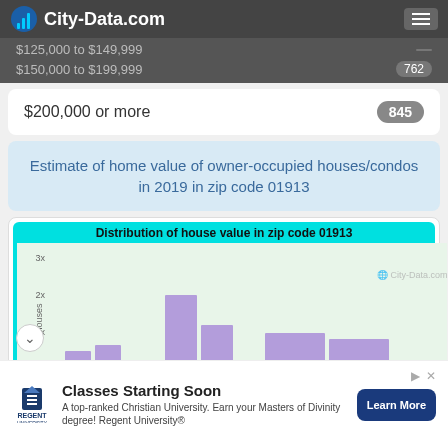City-Data.com
$125,000 to $149,999
$150,000 to $199,999   762
$200,000 or more   845
Estimate of home value of owner-occupied houses/condos in 2019 in zip code 01913
[Figure (histogram): Histogram showing distribution of house values in zip code 01913. Y-axis labeled 'houses' with markers at 1x, 2x, 3x. Bars shown in purple/lavender. Tallest bar appears to be in the $300k-$400k range at approximately 2x height, with smaller bars at lower and higher value ranges.]
Classes Starting Soon
A top-ranked Christian University. Earn your Masters of Divinity degree! Regent University®